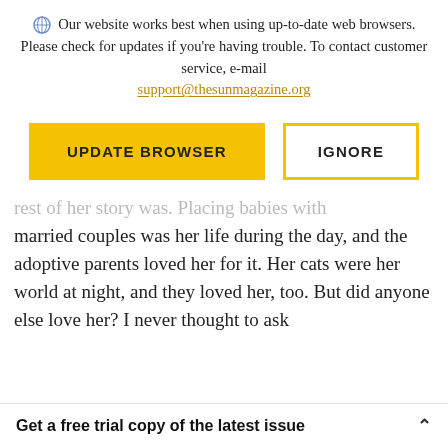Our website works best when using up-to-date web browsers. Please check for updates if you're having trouble. To contact customer service, e-mail support@thesunmagazine.org
[Figure (other): Two buttons: 'UPDATE BROWSER' (yellow filled) and 'IGNORE' (yellow outlined)]
rest of her story was. Placing babies with married couples was her life during the day, and the adoptive parents loved her for it. Her cats were her world at night, and they loved her, too. But did anyone else love her? I never thought to ask
Get a free trial copy of the latest issue